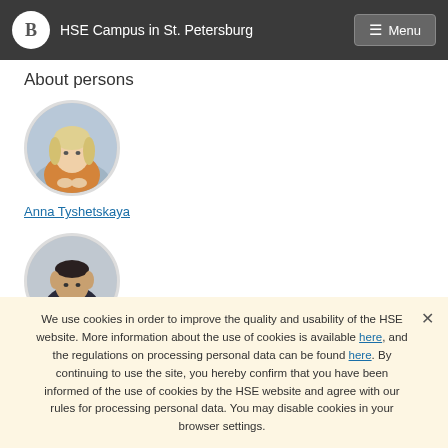HSE Campus in St. Petersburg
About persons
[Figure (photo): Circular portrait photo of Anna Tyshetskaya, a woman with blonde hair wearing an orange/tan blazer, seated with hands folded]
Anna Tyshetskaya
[Figure (photo): Circular portrait photo of a man in a dark suit, partially visible name below]
Aleksandr...
We use cookies in order to improve the quality and usability of the HSE website. More information about the use of cookies is available here, and the regulations on processing personal data can be found here. By continuing to use the site, you hereby confirm that you have been informed of the use of cookies by the HSE website and agree with our rules for processing personal data. You may disable cookies in your browser settings.